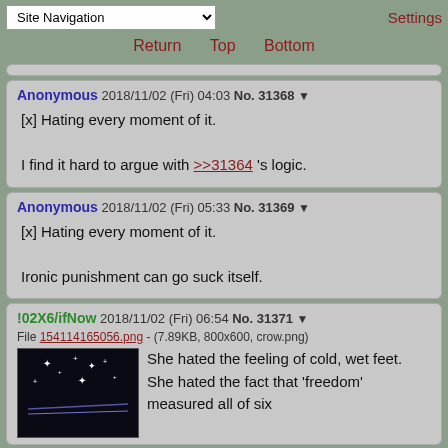Site Navigation | Settings
Return | Top | Bottom
Anonymous 2018/11/02 (Fri) 04:03 No. 31368 ▼
[x] Hating every moment of it.
I find it hard to argue with >>31364 's logic.
Anonymous 2018/11/02 (Fri) 05:33 No. 31369 ▼
[x] Hating every moment of it.
Ironic punishment can go suck itself.
!02X6/ifNow 2018/11/02 (Fri) 06:54 No. 31371 ▼
File 154114165056.png - (7.89KB, 800x600, crow.png)
She hated the feeling of cold, wet feet. She hated the fact that 'freedom' measured all of six